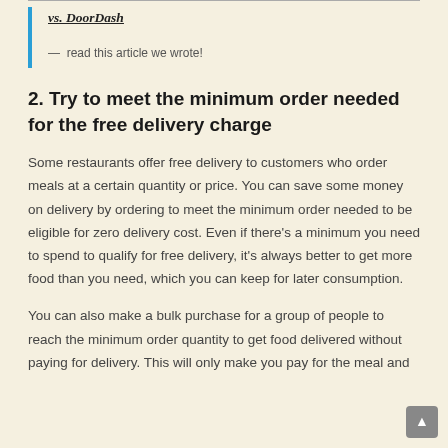vs. DoorDash
— read this article we wrote!
2. Try to meet the minimum order needed for the free delivery charge
Some restaurants offer free delivery to customers who order meals at a certain quantity or price. You can save some money on delivery by ordering to meet the minimum order needed to be eligible for zero delivery cost. Even if there's a minimum you need to spend to qualify for free delivery, it's always better to get more food than you need, which you can keep for later consumption.
You can also make a bulk purchase for a group of people to reach the minimum order quantity to get food delivered without paying for delivery. This will only make you pay for the meal and